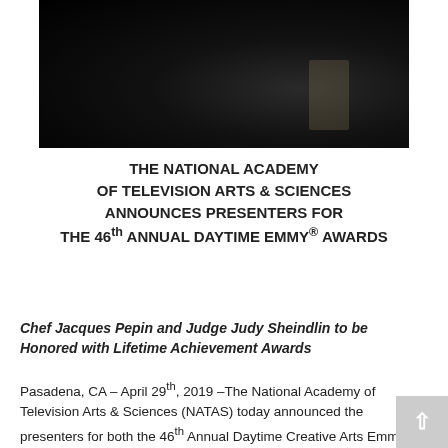[Figure (photo): Dark stage or venue photo, mostly black with faint silhouettes and a light source on the right side]
THE NATIONAL ACADEMY OF TELEVISION ARTS & SCIENCES ANNOUNCES PRESENTERS FOR THE 46th ANNUAL DAYTIME EMMY® AWARDS
Chef Jacques Pepin and Judge Judy Sheindlin to be Honored with Lifetime Achievement Awards
Pasadena, CA – April 29th, 2019 –The National Academy of Television Arts & Sciences (NATAS) today announced the presenters for both the 46th Annual Daytime Creative Arts Emmy® Awards and the 46th Annual Daytime